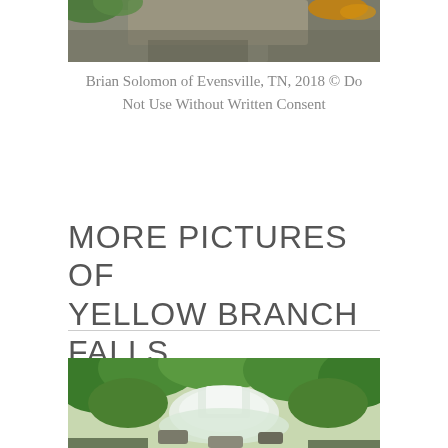[Figure (photo): Top portion of a photo showing rocks with green foliage and orange lichen]
Brian Solomon of Evensville, TN, 2018 © Do Not Use Without Written Consent
MORE PICTURES OF YELLOW BRANCH FALLS
[Figure (photo): Photo of Yellow Branch Falls waterfall with lush green trees surrounding it and water cascading over rocks]